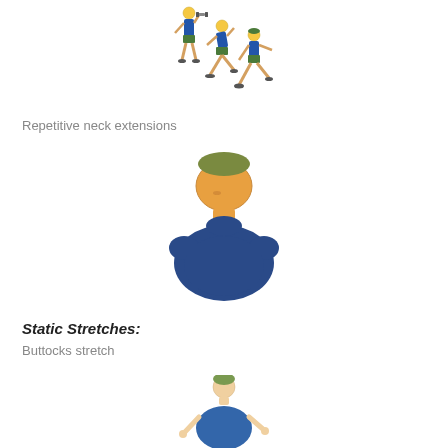[Figure (illustration): Exercise illustration showing figures performing repetitive neck extension movements - stick figures in blue workout clothes in various lunge/extension positions]
Repetitive neck extensions
[Figure (illustration): Illustration of a person with head tilted back showing neck extension stretch - upper body of a person in blue shirt with head extended backward]
Static Stretches:
Buttocks stretch
[Figure (illustration): Illustration of a person performing buttocks stretch - figure in blue shirt beginning a stretch movement]